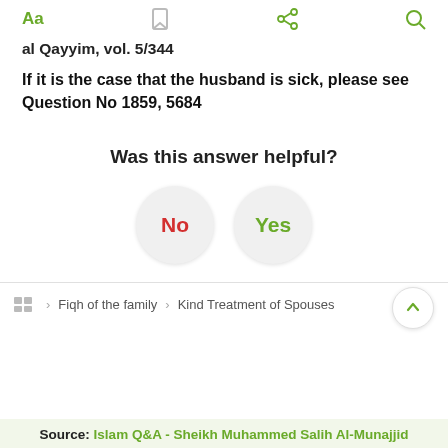Aa  [bookmark]  [share]  [search]
al Qayyim, vol. 5/344
If it is the case that the husband is sick, please see Question No 1859, 5684
Was this answer helpful?
[Figure (other): Two circular buttons labeled 'No' (red) and 'Yes' (green)]
Fiqh of the family > Kind Treatment of Spouses
Source: Islam Q&A - Sheikh Muhammed Salih Al-Munajjid